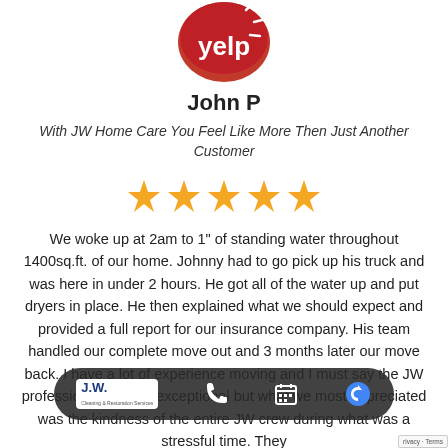[Figure (logo): Yelp logo — red circular badge with 'yelp' text in white]
John P
With JW Home Care You Feel Like More Then Just Another Customer
[Figure (other): Five yellow star rating]
We woke up at 2am to 1" of standing water throughout 1400sq.ft. of our home. Johnny had to go pick up his truck and was here in under 2 hours. He got all of the water up and put dryers in place. He then explained what we should expect and provided a full report for our insurance company. His team handled our complete move out and 3 months later our move back. I have a lot of experience moving and I must say the JW professionalism was exceptional but what we most appreciated was the kindness of the entire JW crew during what was a stressful time. They
[Figure (logo): JW Cleaning & Restoration Services logo and contact bar with phone and calendar icons]